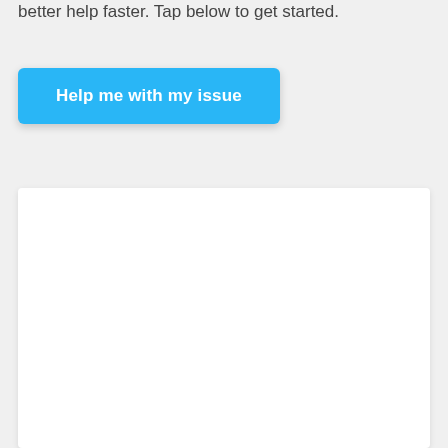better help faster. Tap below to get started.
[Figure (screenshot): A blue button labeled 'Help me with my issue']
[Figure (screenshot): A white card/panel area below the button]